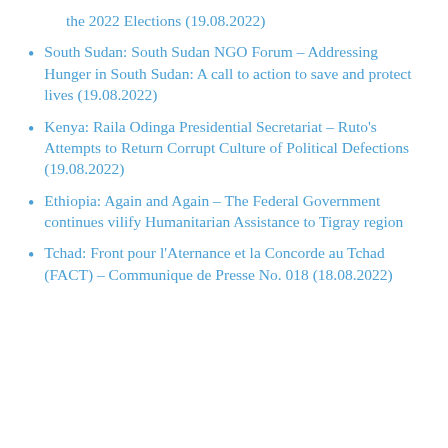the 2022 Elections (19.08.2022)
South Sudan: South Sudan NGO Forum – Addressing Hunger in South Sudan: A call to action to save and protect lives (19.08.2022)
Kenya: Raila Odinga Presidential Secretariat – Ruto's Attempts to Return Corrupt Culture of Political Defections (19.08.2022)
Ethiopia: Again and Again – The Federal Government continues vilify Humanitarian Assistance to Tigray region
Tchad: Front pour l'Aternance et la Concorde au Tchad (FACT) – Communique de Presse No. 018 (18.08.2022)